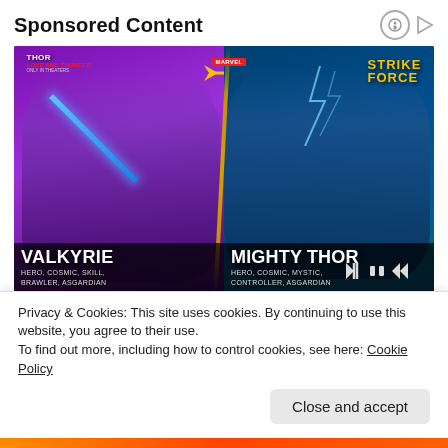Sponsored Content
[Figure (screenshot): Marvel Strike Force mobile game advertisement showing two characters: Valkyrie (left, HERO, COSMIC, SKILL, BRAWLER, ASGARDIAN) and Mighty Thor (right, HERO, COSMIC, MYSTIC, CONTROLLER, ASGARDIAN) with the Marvel Strike Force logo at top. Game ad with video player controls visible at bottom right.]
Privacy & Cookies: This site uses cookies. By continuing to use this website, you agree to their use.
To find out more, including how to control cookies, see here: Cookie Policy
Close and accept